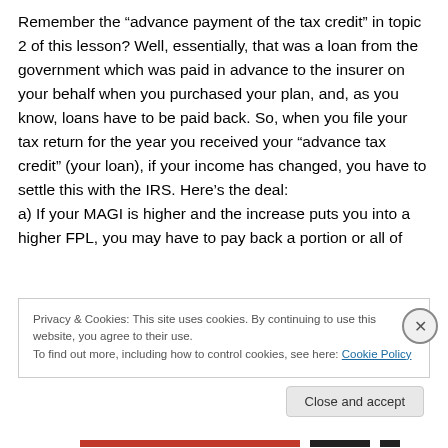Remember the “advance payment of the tax credit” in topic 2 of this lesson? Well, essentially, that was a loan from the government which was paid in advance to the insurer on your behalf when you purchased your plan, and, as you know, loans have to be paid back. So, when you file your tax return for the year you received your “advance tax credit” (your loan), if your income has changed, you have to settle this with the IRS. Here’s the deal:
a) If your MAGI is higher and the increase puts you into a higher FPL, you may have to pay back a portion or all of
Privacy & Cookies: This site uses cookies. By continuing to use this website, you agree to their use.
To find out more, including how to control cookies, see here: Cookie Policy